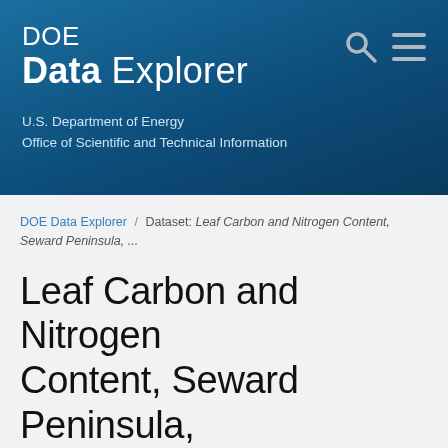DOE Data Explorer — U.S. Department of Energy Office of Scientific and Technical Information
DOE Data Explorer / Dataset: Leaf Carbon and Nitrogen Content, Seward Peninsula, ...
Leaf Carbon and Nitrogen Content, Seward Peninsula, Alaska, 2014